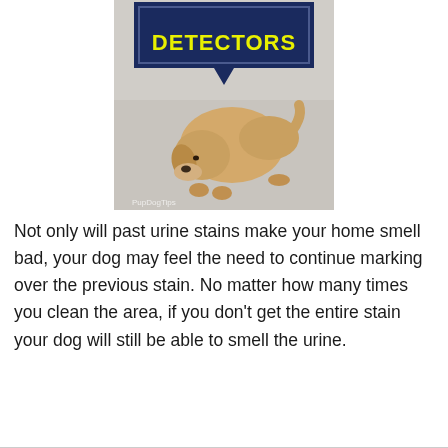[Figure (illustration): A golden Labrador puppy sniffing the carpet/floor, with a dark navy blue speech-bubble banner above showing the text 'DETECTORS' in bold yellow letters. The banner has a rectangular frame outline and a pointed tail pointing downward toward the puppy. Watermark text 'PupDogTips' visible at bottom-left of image.]
Not only will past urine stains make your home smell bad, your dog may feel the need to continue marking over the previous stain. No matter how many times you clean the area, if you don't get the entire stain your dog will still be able to smell the urine.